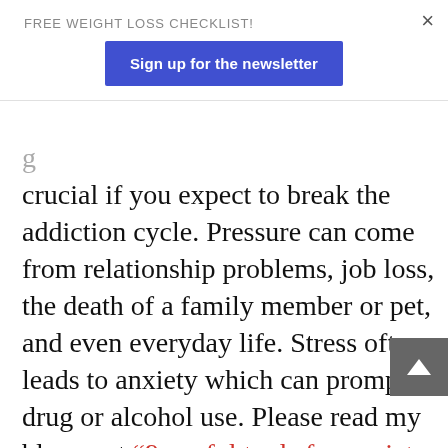FREE WEIGHT LOSS CHECKLIST!
Sign up for the newsletter
crucial if you expect to break the addiction cycle. Pressure can come from relationship problems, job loss, the death of a family member or pet, and even everyday life. Stress often leads to anxiety which can prompt drug or alcohol use. Please read my blog post “9-useful tools for anxiety relief.” for ideas on how to relieve anxiety symptoms. Here are some ideas to help reduce stress. Pick the activities that work best for you